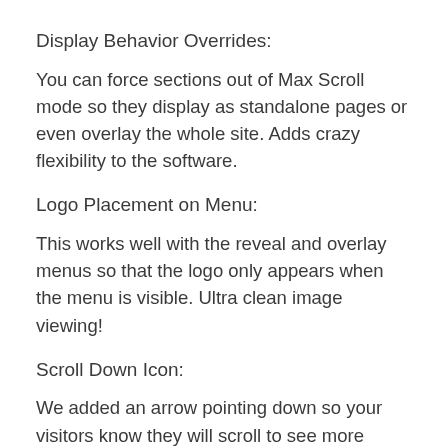Display Behavior Overrides:
You can force sections out of Max Scroll mode so they display as standalone pages or even overlay the whole site. Adds crazy flexibility to the software.
Logo Placement on Menu:
This works well with the reveal and overlay menus so that the logo only appears when the menu is visible. Ultra clean image viewing!
Scroll Down Icon:
We added an arrow pointing down so your visitors know they will scroll to see more content. There are many ways to add this and adjustments for color size and position.